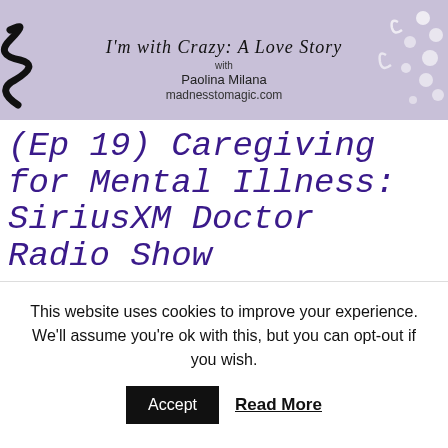[Figure (illustration): Podcast banner with lavender/purple background showing 'I'm with Crazy: A Love Story' with Paolina Milana and madnesstomagic.com, decorative squiggles on left and dots on right]
(Ep 19) Caregiving for Mental Illness: SiriusXM Doctor Radio Show
This website uses cookies to improve your experience. We'll assume you're ok with this, but you can opt-out if you wish.
Accept   Read More